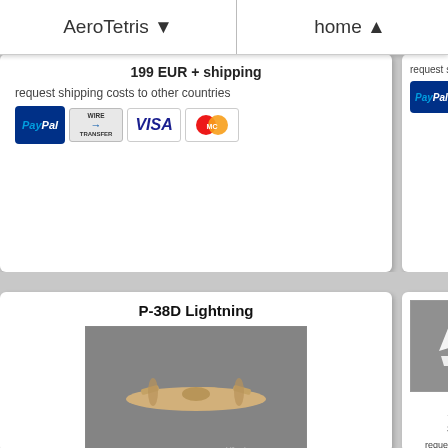AeroTetris ▼   home ▲   ho
199 EUR + shipping
request shipping costs to other countries
[Figure (other): Payment method icons: PayPal, Wire Transfer, VISA, MasterCard]
P-38D Lightning
[Figure (photo): Wooden model aircraft P-38D Lightning, light wood color, twin-boom design, viewed from above-front angle on grey background. Watermark: blikestres.com]
length - 1370mm
wingspan - 1900mm
199 EUR + shipping
request shipping costs to other countries
[Figure (other): Payment method icons: PayPal, Wire Transfer, VISA, MasterCard]
request shipp
[Figure (other): PayPal payment icon (partial)]
le
wi
39
[Figure (photo): White aircraft model, partially visible, on grey background]
request shipp
[Figure (other): PayPal payment icon (partial right card bottom)]